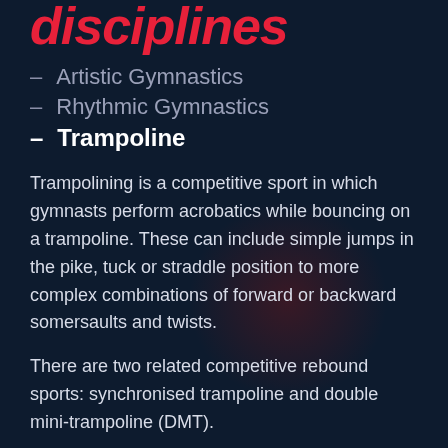disciplines
Artistic Gymnastics
Rhythmic Gymnastics
Trampoline
Trampolining is a competitive sport in which gymnasts perform acrobatics while bouncing on a trampoline. These can include simple jumps in the pike, tuck or straddle position to more complex combinations of forward or backward somersaults and twists.
There are two related competitive rebound sports: synchronised trampoline and double mini-trampoline (DMT).